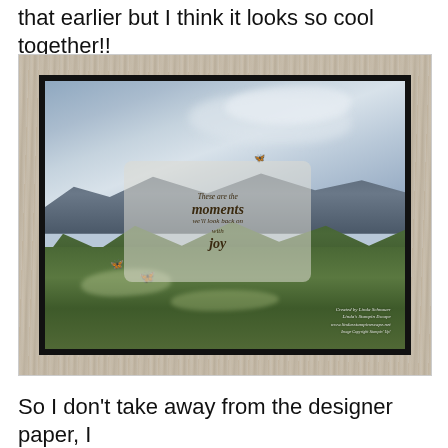that earlier but I think it looks so cool together!!
[Figure (photo): A handmade greeting card mounted on a wooden surface. The card features a watercolor landscape with a blue sky, rolling green hills, and a frosted vellum text overlay reading 'These are the moments we'll look back on with joy' in gold italic script. Small gold/copper butterfly die cuts are scattered on the card. A watermark in the lower right reads 'Created by Linda Schnauer, Linda's Stampin Escape, www.lindasstampinescape.net'.]
So I don't take away from the designer paper, I